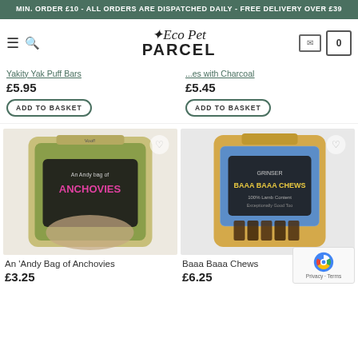MIN. ORDER £10 - ALL ORDERS ARE DISPATCHED DAILY - FREE DELIVERY OVER £39
Eco Pet PARCEL
Yakity Yak Puff Bars
£5.95
ADD TO BASKET
...es with Charcoal
£5.45
ADD TO BASKET
[Figure (photo): An 'Andy Bag of Anchovies dog treat product in a kraft paper pouch with green floral design]
[Figure (photo): Baaa Baaa Chews dog treat product in a kraft paper pouch with blue pattern design]
An 'Andy Bag of Anchovies
£3.25
Baaa Baaa Chews
£6.25